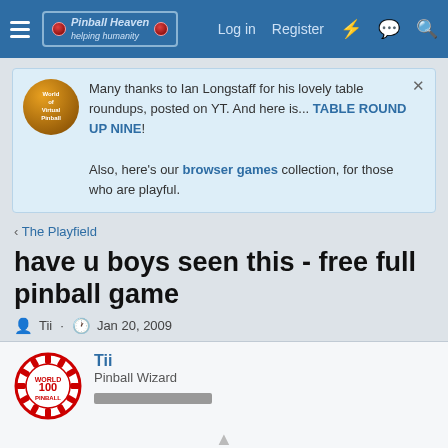Pinball Heaven — Log in | Register
Many thanks to Ian Longstaff for his lovely table roundups, posted on YT. And here is... TABLE ROUND UP NINE! Also, here's our browser games collection, for those who are playful.
< The Playfield
have u boys seen this - free full pinball game
Tii · Jan 20, 2009
Tii
Pinball Wizard
@ freebird1963: *** ******* ** ***... Sunday at 12:33 AM
Chat [0]